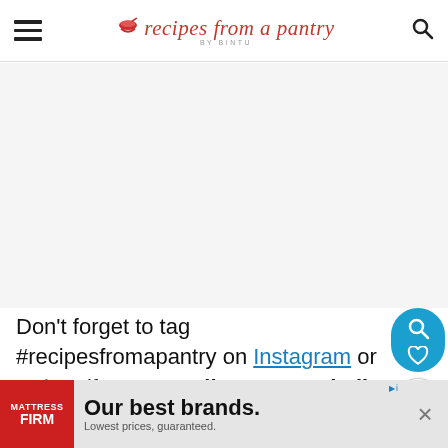recipes from a pantry BY BINTU
[Figure (other): Advertisement placeholder area (white/light gray blank space)]
Don't forget to tag #recipesfromapantry on Instagram or Twitter if you try Halloween Eyeball Cookies! It is really
[Figure (other): Mattress Firm advertisement banner: 'Our best brands. Lowest prices, guaranteed.']